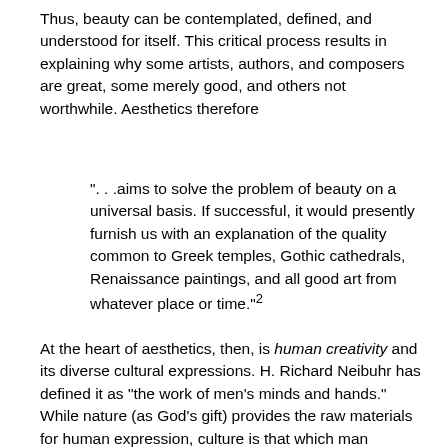Thus, beauty can be contemplated, defined, and understood for itself. This critical process results in explaining why some artists, authors, and composers are great, some merely good, and others not worthwhile. Aesthetics therefore
". . .aims to solve the problem of beauty on a universal basis. If successful, it would presently furnish us with an explanation of the quality common to Greek temples, Gothic cathedrals, Renaissance paintings, and all good art from whatever place or time."²
At the heart of aesthetics, then, is human creativity and its diverse cultural expressions. H. Richard Neibuhr has defined it as "the work of men's minds and hands." While nature (as God's gift) provides the raw materials for human expression, culture is that which man produces in his earthly setting. It . . . "includes the totality and the life pattern--language, religion, literature (if any), machines and inventions, arts and crafts, architecture and decor, dress, laws, customs, marriage and family structures, government and institutions, plus the peculiar and characteristic ways of thinking and